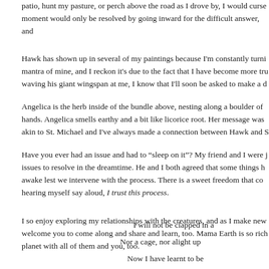patio, hunt my pasture, or perch above the road as I drove by, I would curse moment would only be resolved by going inward for the difficult answer, and
Hawk has shown up in several of my paintings because I'm constantly turni mantra of mine, and I reckon it's due to the fact that I have become more tru waving his giant wingspan at me, I know that I'll soon be asked to make a d
Angelica is the herb inside of the bundle above, nesting along a boulder of hands. Angelica smells earthy and a bit like licorice root. Her message was akin to St. Michael and I've always made a connection between Hawk and S
Have you ever had an issue and had to "sleep on it"? My friend and I were j issues to resolve in the dreamtime. He and I both agreed that some things h awake lest we intervene with the process. There is a sweet freedom that co hearing myself say aloud, I trust this process.
I so enjoy exploring my relationships with the creatures, and as I make new welcome you to come along and share and learn, too. Mama Earth is so rich planet with all of them and you, too.
I will not be clapped in a
Nor a cage, nor alight up
Now I have learnt to be